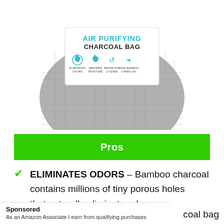[Figure (photo): Air Purifying Charcoal Bag product photo showing a grey mesh bag with a white label reading 'AIR PURIFYING CHARCOAL BAG' and four icons: ELIMINATES ODORS, ABSORBS MOISTURE, REUSE FOR 2 YEARS, 100% BAMBOO CHARCOAL]
Pros
ELIMINATES ODORS – Bamboo charcoal contains millions of tiny porous holes that naturally eliminate odors
coal bag
Sponsored
As an Amazon Associate I earn from qualifying purchases